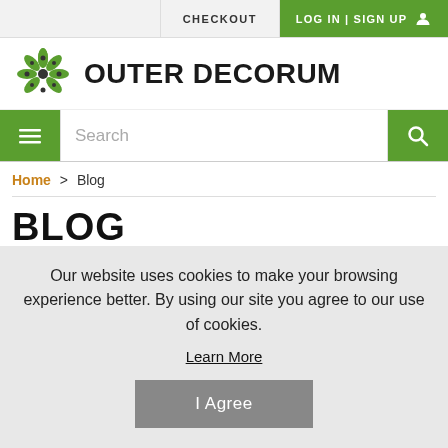CHECKOUT | LOG IN | SIGN UP
[Figure (logo): Outer Decorum logo with green flower/leaf icon and bold text 'OUTER DECORUM']
Search
Home > Blog
BLOG
POSTS
Our website uses cookies to make your browsing experience better. By using our site you agree to our use of cookies.
Learn More
I Agree